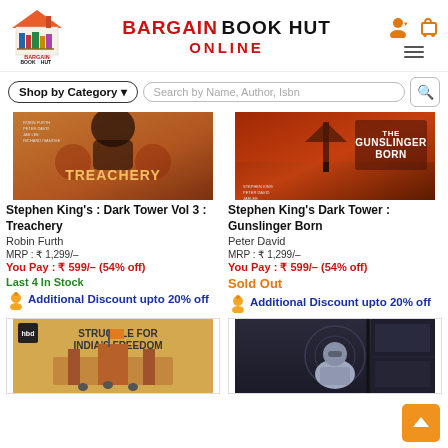[Figure (logo): Bargain Book Hut logo with house and books]
BARGAIN BOOK HUT ONLINE
Shop by Category ▾
Search by Name, Author, Isbn
[Figure (photo): Book cover: Stephen King's Dark Tower Vol 3: Treachery]
Stephen King's : Dark Tower Vol 3 : Treachery
Robin Furth
MRP : ₹ 1,299/–
You Pay : ₹ 599/– (54% off)
Last 4 In Stock
Additional Discount upto 20% off
[Figure (photo): Book cover: Stephen King's Dark Tower: Gunslinger Born]
Stephen King's Dark Tower : Gunslinger Born
Peter David
MRP : ₹ 1,299/–
You Pay : ₹ 599/– (54% off)
Sold Out
Additional Discount upto 20% off
[Figure (photo): Book cover: Struggle for India's Freedom]
[Figure (photo): Comic book cover (superhero in armor)]